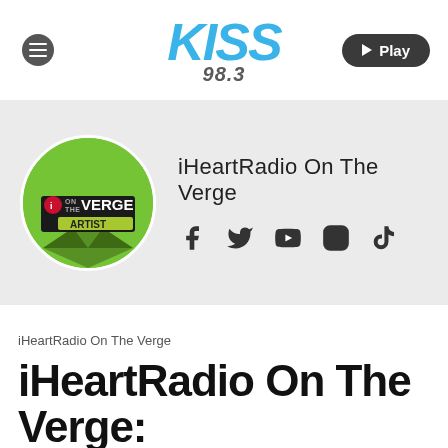KISS 98.3 — Play
[Figure (logo): KISS 98.3 radio station logo in blue italic bold text with 98.3 frequency below]
[Figure (logo): iHeartRadio On The Verge Artist circular logo on green background]
iHeartRadio On The Verge
[Figure (infographic): Social media icons: Facebook, Twitter, YouTube, Instagram, TikTok]
iHeartRadio On The Verge
iHeartRadio On The Verge: